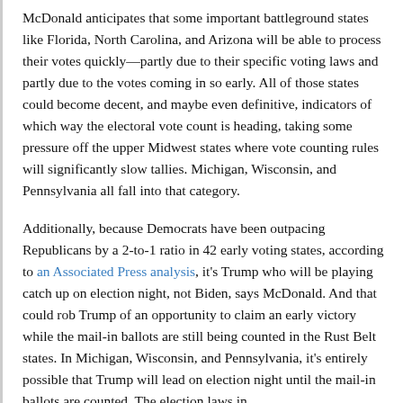McDonald anticipates that some important battleground states like Florida, North Carolina, and Arizona will be able to process their votes quickly—partly due to their specific voting laws and partly due to the votes coming in so early. All of those states could become decent, and maybe even definitive, indicators of which way the electoral vote count is heading, taking some pressure off the upper Midwest states where vote counting rules will significantly slow tallies. Michigan, Wisconsin, and Pennsylvania all fall into that category.
Additionally, because Democrats have been outpacing Republicans by a 2-to-1 ratio in 42 early voting states, according to an Associated Press analysis, it's Trump who will be playing catch up on election night, not Biden, says McDonald. And that could rob Trump of an opportunity to claim an early victory while the mail-in ballots are still being counted in the Rust Belt states. In Michigan, Wisconsin, and Pennsylvania, it's entirely possible that Trump will lead on election night until the mail-in ballots are counted. The election laws in